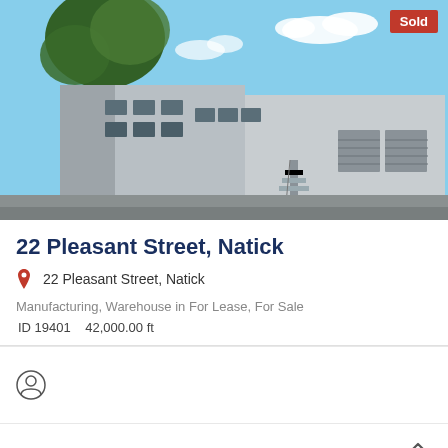[Figure (photo): Exterior photo of a large grey industrial/warehouse building with multiple windows, garage doors, exterior staircase, and trees. A 'Sold' badge is in the top-right corner.]
22 Pleasant Street, Natick
22 Pleasant Street, Natick
Manufacturing, Warehouse in For Lease, For Sale
ID 19401    42,000.00 ft
[Figure (other): User/agent profile icon (circular user avatar outline)]
[Figure (other): Partial view of a second property listing card at the bottom]